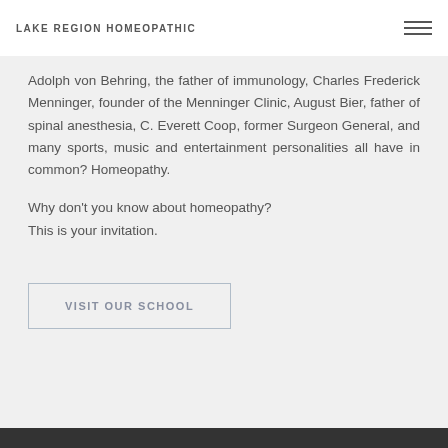LAKE REGION HOMEOPATHIC
Adolph von Behring, the father of immunology, Charles Frederick Menninger, founder of the Menninger Clinic, August Bier, father of spinal anesthesia, C. Everett Coop, former Surgeon General, and many sports, music and entertainment personalities all have in common? Homeopathy.
Why don’t you know about homeopathy?
This is your invitation.
VISIT OUR SCHOOL